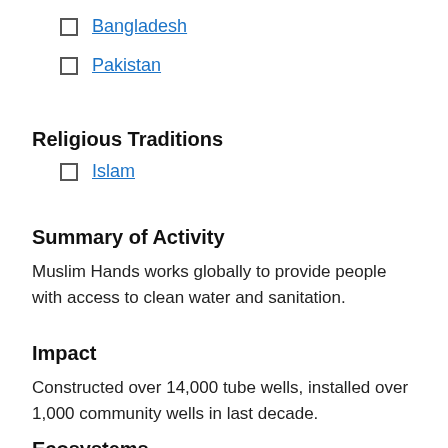Bangladesh
Pakistan
Religious Traditions
Islam
Summary of Activity
Muslim Hands works globally to provide people with access to clean water and sanitation.
Impact
Constructed over 14,000 tube wells, installed over 1,000 community wells in last decade.
Ecosystems